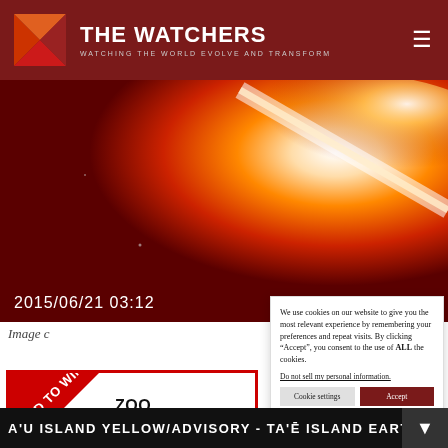THE WATCHERS — WATCHING THE WORLD EVOLVE AND TRANSFORM
[Figure (photo): Space or solar image showing a bright orange/white streak of light against a dark red background, timestamped 2015/06/21 03:12]
Image c...
[Figure (photo): Advertisement with red diagonal 'BID TO WIN!' badge, showing 'ZOO' title and 'w/ BEST-SE... AUTHO...' text]
We use cookies on our website to give you the most relevant experience by remembering your preferences and repeat visits. By clicking “Accept”, you consent to the use of ALL the cookies.
Do not sell my personal information.
A'U ISLAND YELLOW/ADVISORY - TA'Ē ISLAND EARTHQUAKE S